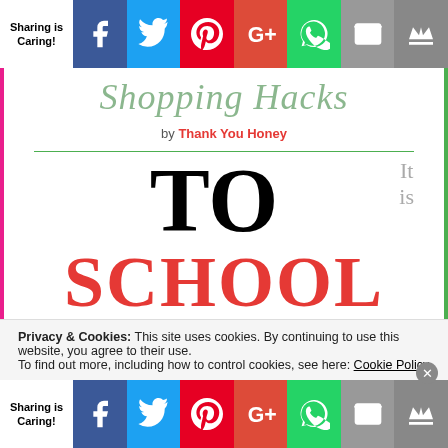Sharing is Caring! [social share bar top: Facebook, Twitter, Pinterest, Google+, WhatsApp, Email, Crown]
Shopping Hacks
by Thank You Honey
[Figure (illustration): Large decorative text reading 'TO' in black serif font and 'SCHOOL' in red bold serif font, with 'It is' in gray on the right side]
Privacy & Cookies: This site uses cookies. By continuing to use this website, you agree to their use.
To find out more, including how to control cookies, see here: Cookie Policy
Sharing is Caring! [social share bar bottom: Facebook, Twitter, Pinterest, Google+, WhatsApp, Email, Crown]